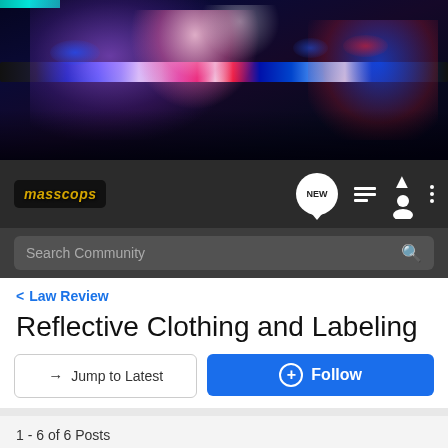[Figure (photo): Police car with flashing red, blue, and pink/purple emergency lights in dark setting]
[Figure (logo): MassCops forum logo with golden badge and wings on dark background]
Search Community
Law Review
Reflective Clothing and Labeling
→ Jump to Latest
+ Follow
1 - 6 of 6 Posts
bsco608 · Registered
Joined Jan 6, 2005 · 12 Posts